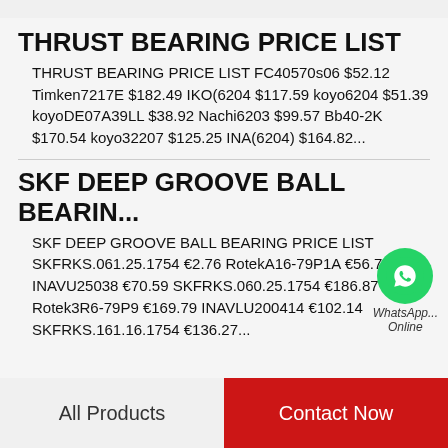THRUST BEARING PRICE LIST
THRUST BEARING PRICE LIST FC40570s06 $52.12 Timken7217E $182.49 IKO(6204 $117.59 koyo6204 $51.39 koyoDE07A39LL $38.92 Nachi6203 $99.57 Bb40-2K $170.54 koyo32207 $125.25 INA(6204) $164.82...
SKF DEEP GROOVE BALL BEARING...
SKF DEEP GROOVE BALL BEARING PRICE LIST SKFRKS.061.25.1754 €2.76 RotekA16-79P1A €56.73 INAVU25038 €70.59 SKFRKS.060.25.1754 €186.87 Rotek3R6-79P9 €169.79 INAVLU200414 €102.14 SKFRKS.161.16.1754 €136.27...
All Products    Contact Now